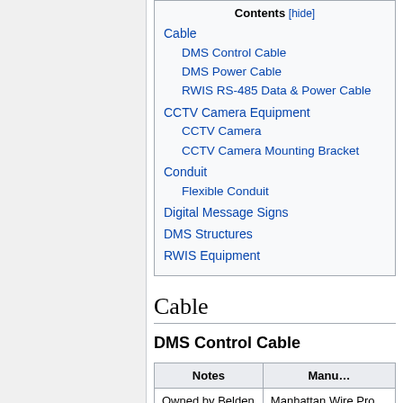Cable
DMS Control Cable
DMS Power Cable
RWIS RS-485 Data & Power Cable
CCTV Camera Equipment
CCTV Camera
CCTV Camera Mounting Bracket
Conduit
Flexible Conduit
Digital Message Signs
DMS Structures
RWIS Equipment
Cable
DMS Control Cable
| Notes | Manu… |
| --- | --- |
| Owned by Belden | Manhattan Wire Pro… |